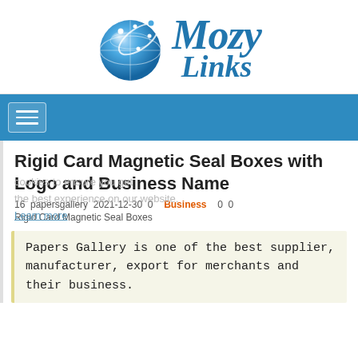[Figure (logo): MozyLinks logo with blue globe icon and italic serif text 'Mozy Links' in blue]
[Figure (other): Blue navigation bar with hamburger menu button (three white lines)]
Rigid Card Magnetic Seal Boxes with Logo and Business Name
16  papersgallery  2021-12-30  0  Business  0  0
Learn more
Rigid Card Magnetic Seal Boxes
Papers Gallery is one of the best supplier, manufacturer, export for merchants and their business.